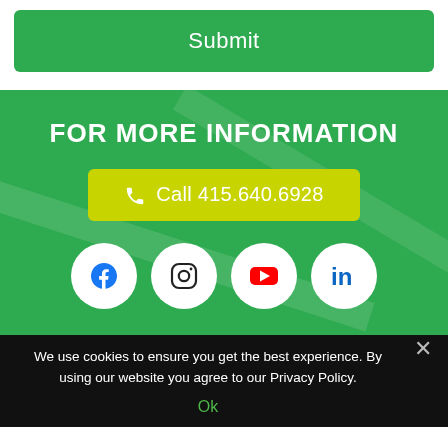[Figure (screenshot): Green Submit button at top of page]
FOR MORE INFORMATION
Call 415.640.6928
[Figure (infographic): Social media icons: Facebook, Instagram, YouTube, LinkedIn in white circles on green background]
We use cookies to ensure you get the best experience. By using our website you agree to our Privacy Policy.
Ok